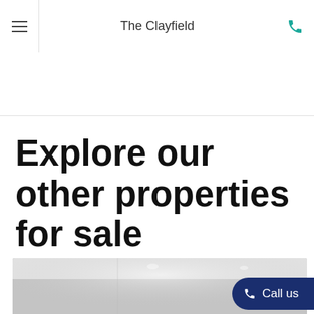The Clayfield
Explore our other properties for sale
[Figure (photo): Interior room photo showing white walls, recessed ceiling lights, and a ceiling fan, partially visible at the bottom of the page]
Call us